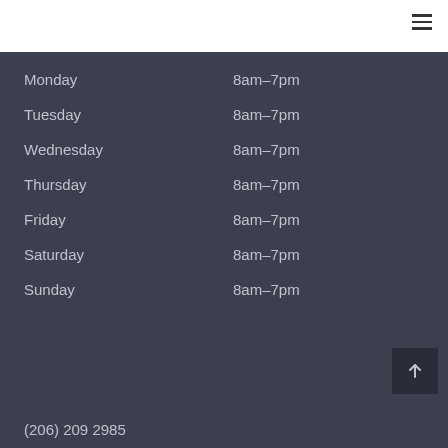| Day | Hours |
| --- | --- |
| Monday | 8am–7pm |
| Tuesday | 8am–7pm |
| Wednesday | 8am–7pm |
| Thursday | 8am–7pm |
| Friday | 8am–7pm |
| Saturday | 8am–7pm |
| Sunday | 8am–7pm |
(206) 209 2985